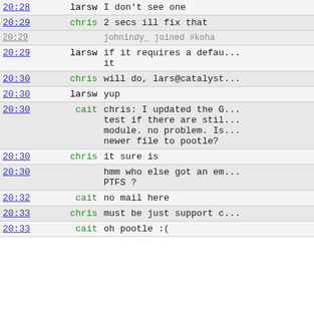| Time | Nick | Message |
| --- | --- | --- |
| 20:28 | larsw | I don't see one |
| 20:29 | chris | 2 secs ill fix that |
| 20:29 |  | johnindy_ joined #koha |
| 20:29 | larsw | if it requires a defau... it |
| 20:30 | chris | will do, lars@catalyst... |
| 20:30 | larsw | yup |
| 20:30 | cait | chris: I updated the G... test if there are stil... module. no problem. Is... newer file to pootle? |
| 20:30 | chris | it sure is |
| 20:30 |  | hmm who else got an em... PTFS ? |
| 20:32 | cait | no mail here |
| 20:33 | chris | must be just support c... |
| 20:33 | cait | oh pootle :( |